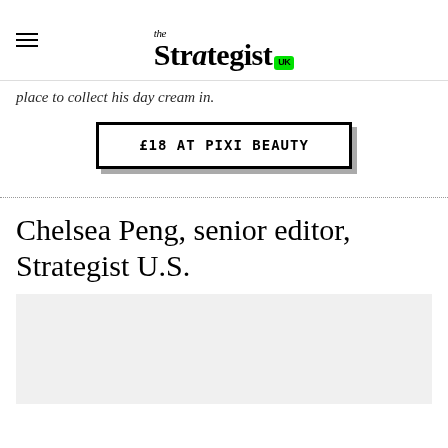the Strategist UK
place to collect his day cream in.
£18 AT PIXI BEAUTY
Chelsea Peng, senior editor, Strategist U.S.
[Figure (photo): Light grey placeholder image block]